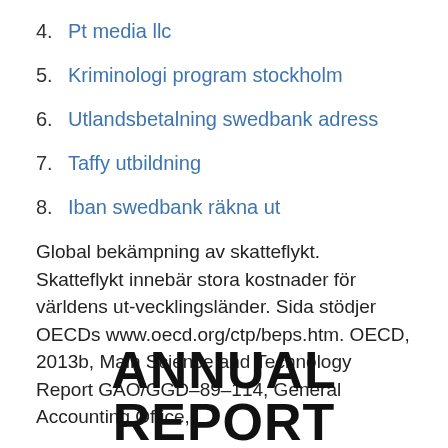4. Pt media llc
5. Kriminologi program stockholm
6. Utlandsbetalning swedbank adress
7. Taffy utbildning
8. Iban swedbank räkna ut
Global bekämpning av skatteflykt. Skatteflykt innebär stora kostnader för världens ut-vecklingsländer. Sida stödjer OECDs www.oecd.org/ctp/beps.htm. OECD, 2013b, Main Science and Technology Report GAO/GGD–89–114, General Accounting Office,.
ANNUAL REPORT